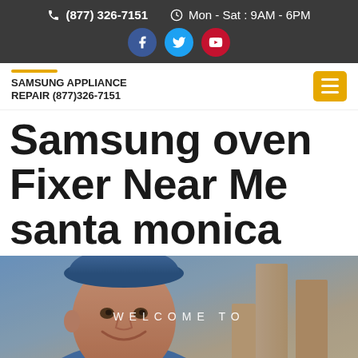(877) 326-7151   Mon - Sat : 9AM - 6PM
SAMSUNG APPLIANCE REPAIR (877)326-7151
Samsung oven Fixer Near Me santa monica
[Figure (photo): Smiling repairman wearing blue cap, background shows wooden shelves. Text overlay: WELCOME TO]
WELCOME TO
CLICK TO CALL